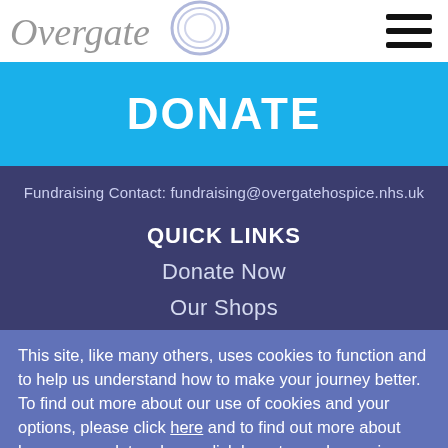[Figure (logo): Overgate Hospice logo partially visible at top left]
DONATE
Fundraising Contact: fundraising@overgatehospice.nhs.uk
QUICK LINKS
Donate Now
Our Shops
Accessibility
This site, like many others, uses cookies to function and to help us understand how to make your journey better. To find out more about our use of cookies and your options, please click here and to find out more about how we use data, please click here to read our privacy policy.
CLOSE